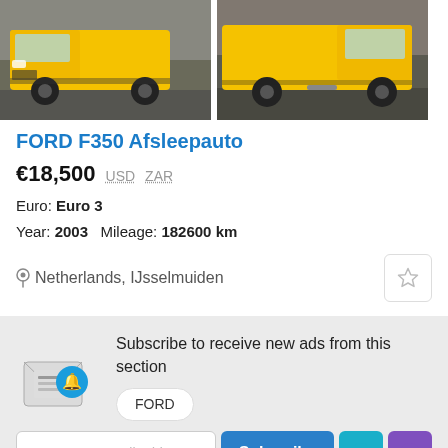[Figure (photo): Two yellow Ford F350 tow trucks parked on a street, shown from the front and side angles.]
FORD F350 Afsleepauto
€18,500  USD  ZAR
Euro: Euro 3
Year: 2003  Mileage: 182600 km
Netherlands, IJsselmuiden
Subscribe to receive new ads from this section
FORD
Enter your e-mail address